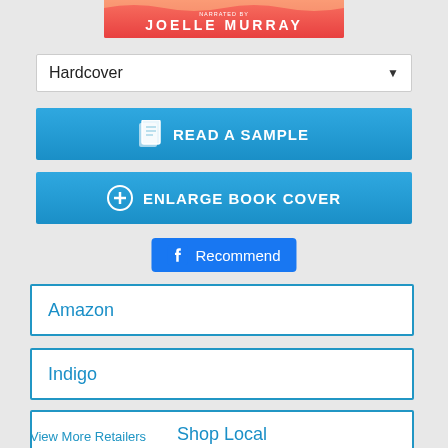[Figure (illustration): Book cover strip showing author name JOELLE MURRAY on a reddish-pink background]
Hardcover
READ A SAMPLE
ENLARGE BOOK COVER
Recommend
Amazon
Indigo
Shop Local
View More Retailers